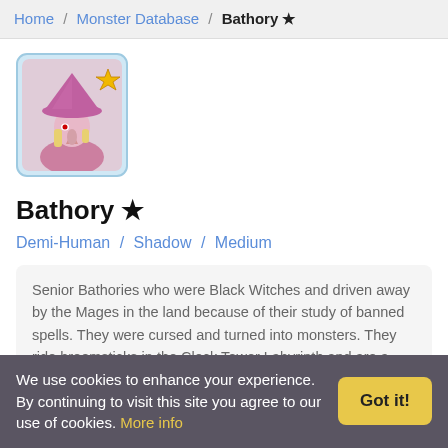Home / Monster Database / Bathory ★
[Figure (illustration): Pixel art illustration of Bathory monster — a witch with a large pink hat, beak-like nose, wearing pink robes. Has a gold star badge in the upper right corner. Displayed in a light blue bordered rounded square frame.]
Bathory ★
Demi-Human / Shadow / Medium
Senior Bathories who were Black Witches and driven away by the Mages in the land because of their study of banned spells. They were cursed and turned into monsters. They ride broomsticks in the Clock Tower Labyrinth and are a nightmare for many children
We use cookies to enhance your experience. By continuing to visit this site you agree to our use of cookies. More info